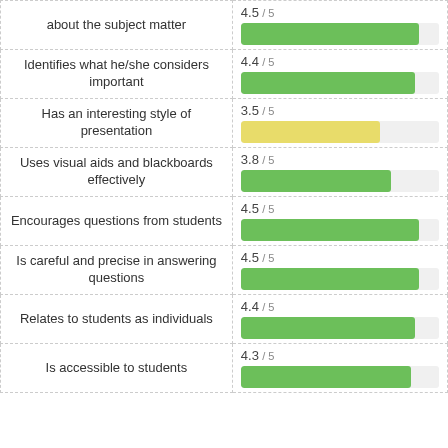[Figure (bar-chart): Instructor evaluation ratings]